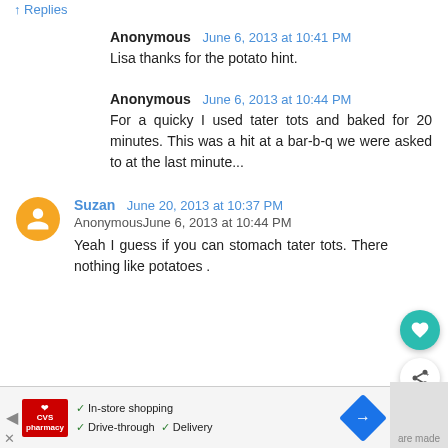Replies
Anonymous  June 6, 2013 at 10:41 PM
Lisa thanks for the potato hint.
Anonymous  June 6, 2013 at 10:44 PM
For a quicky I used tater tots and baked for 20 minutes. This was a hit at a bar-b-q we were asked to at the last minute...
Suzan  June 20, 2013 at 10:37 PM
AnonymousJune 6, 2013 at 10:44 PM
Yeah I guess if you can stomach tater tots. There nothing like potatoes .
[Figure (other): What's Next promotional banner showing Taco Stuffed Taters with food image thumbnail]
[Figure (other): CVS Pharmacy advertisement banner with in-store shopping, drive-through and delivery options]